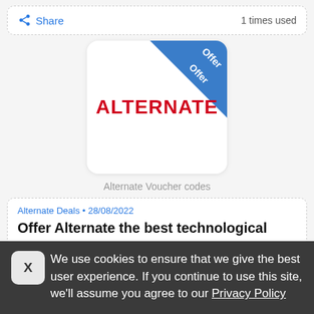Share  1 times used
[Figure (logo): Alternate logo with blue diagonal 'Offer' ribbon in upper right corner on white rounded card]
Alternate Voucher codes
Alternate Deals • 28/08/2022
Offer Alternate the best technological
We use cookies to ensure that we give the best user experience. If you continue to use this site, we'll assume you agree to our Privacy Policy